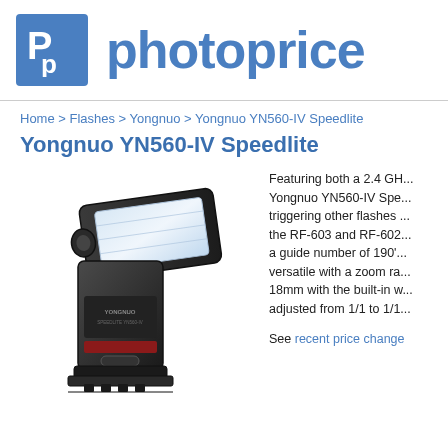[Figure (logo): Photoprice logo with blue square containing 'Pp' letters and blue text 'photoprice']
Home > Flashes > Yongnuo > Yongnuo YN560-IV Speedlite
Yongnuo YN560-IV Speedlite
[Figure (photo): Yongnuo YN560-IV Speedlite camera flash unit, black, shown at an angle]
Featuring both a 2.4 GHz... Yongnuo YN560-IV Spe... triggering other flashes ... the RF-603 and RF-602... a guide number of 190'... versatile with a zoom ra... 18mm with the built-in w... adjusted from 1/1 to 1/1...
See recent price change